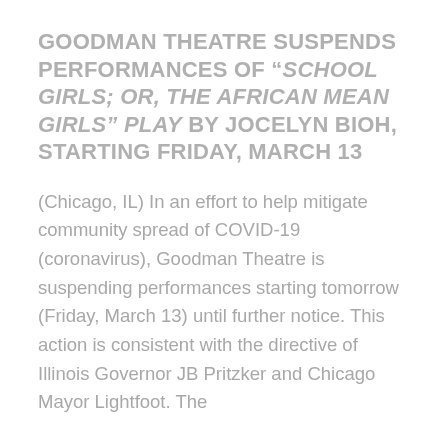GOODMAN THEATRE SUSPENDS PERFORMANCES OF “SCHOOL GIRLS; OR, THE AFRICAN MEAN GIRLS” PLAY BY JOCELYN BIOH, STARTING FRIDAY, MARCH 13
(Chicago, IL) In an effort to help mitigate community spread of COVID-19 (coronavirus), Goodman Theatre is suspending performances starting tomorrow (Friday, March 13) until further notice. This action is consistent with the directive of Illinois Governor JB Pritzker and Chicago Mayor Lori Lightfoot. The...